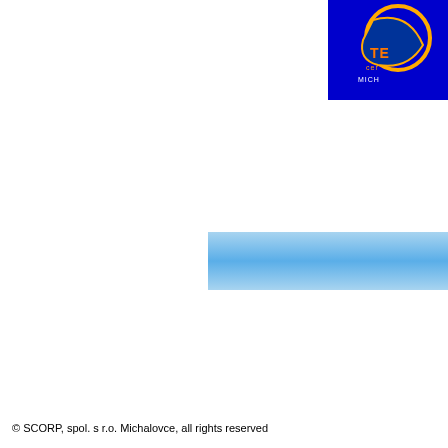[Figure (logo): Partial logo in top-right corner: blue background with circular emblem and orange/yellow text reading 'TE', 'cer', 'MICH' — cropped at right edge]
[Figure (other): Light blue gradient horizontal banner rectangle in the middle-right area of the page]
© SCORP, spol. s r.o. Michalovce, all rights reserved